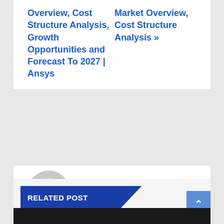Overview, Cost Structure Analysis, Growth Opportunities and Forecast To 2027 | Ansys
Market Overview, Cost Structure Analysis »
By marcus
RELATED POST